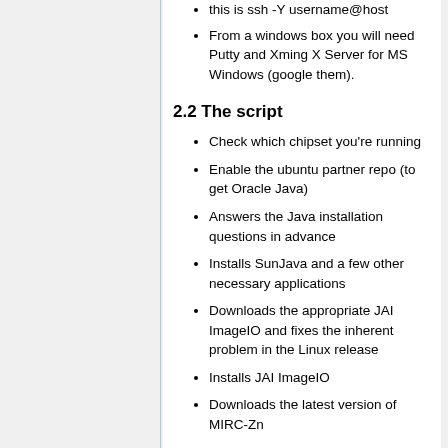this is ssh -Y username@host
From a windows box you will need Putty and Xming X Server for MS Windows (google them).
2.2 The script
Check which chipset you're running
Enable the ubuntu partner repo (to get Oracle Java)
Answers the Java installation questions in advance
Installs SunJava and a few other necessary applications
Downloads the appropriate JAI ImageIO and fixes the inherent problem in the Linux release
Installs JAI ImageIO
Downloads the latest version of MIRC-Zn